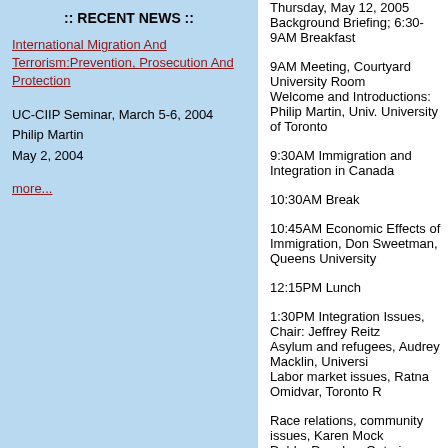:: RECENT NEWS ::
International Migration And Terrorism:Prevention, Prosecution And Protection
UC-CIIP Seminar, March 5-6, 2004
Philip Martin
May 2, 2004
more...
Thursday, May 12, 2005 Background Briefing; 6:30-9AM Breakfast
9AM Meeting, Courtyard University Room
Welcome and Introductions: Philip Martin, Univ. University of Toronto
9:30AM Immigration and Integration in Canada
10:30AM Break
10:45AM Economic Effects of Immigration, Don Sweetman, Queens University
12:15PM Lunch
1:30PM Integration Issues, Chair: Jeffrey Reitz
Asylum and refugees, Audrey Macklin, Universi
Labor market issues, Ratna Omidvar, Toronto R
Race relations, community issues, Karen Mock
Debby Douglas, Ontario Council of Agencies S
Smart borders and security, Sara Wiebe, Borde
http://www.pco-bcp.gc.ca/)
3PM Break